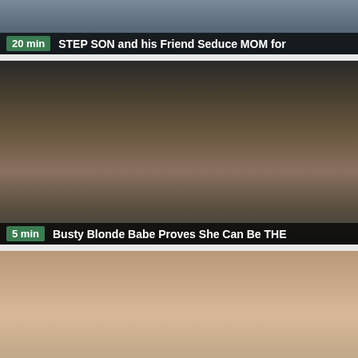[Figure (screenshot): Video thumbnail 1 - cropped image at top with dark overlay bar showing duration and title]
20 min | STEP SON and his Friend Seduce MOM for
[Figure (screenshot): Video thumbnail 2 - scene inside a van with a blonde woman]
5 min | Busty Blonde Babe Proves She Can Be THE
[Figure (screenshot): Video thumbnail 3 - two blonde women close up, partially visible]